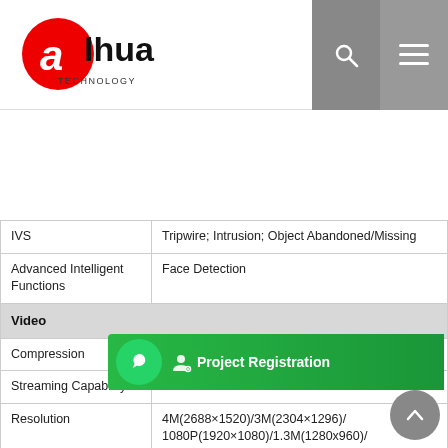[Figure (logo): Dahua Technology logo — red ellipse with white 'a' letter, text 'alhua TECHNOLOGY' in black]
| Feature | Value |
| --- | --- |
| IVS | Tripwire; Intrusion; Object Abandoned/Missing |
| Advanced Intelligent Functions | Face Detection |
| Video |  |
| Compression | H.265+/H.265/H.264+/H.264 |
| Streaming Capability | 3 Streams |
| Resolution | 4M(2688×1520)/3M(2304×1296)/1080P(1920×1080)/1.3M(1280x960)/720P(1280×720)/D1(704×576/704×480)/VGA(640×480)/CIF(352×288/352×240) |
| Frame Rate | Main Stream: ...
Sub Stream: D1(1~25/30fps)
Third Stream: 720P(1~25/30fps) |
| Bit Rate Control | CBR/VBR |
| Bit Rate | H.264: 24~10240Kbps
H.265: 14~9984Kbps |
| Day/Night | Auto (ICR) / Color / B&W |